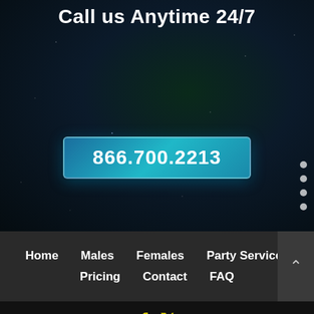Call us Anytime 24/7
866.700.2213
Home
Males
Females
Party Services
Pricing
Contact
FAQ
© 2022 Lake Tahoe Strippers 866.700.2213 | Design by Blue Frog Web Design